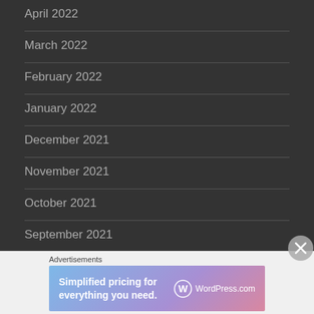April 2022
March 2022
February 2022
January 2022
December 2021
November 2021
October 2021
September 2021
August 2021
July 2021
Advertisements
[Figure (other): WordPress.com advertisement banner: 'Simplified pricing for everything you need.' with WordPress.com logo]